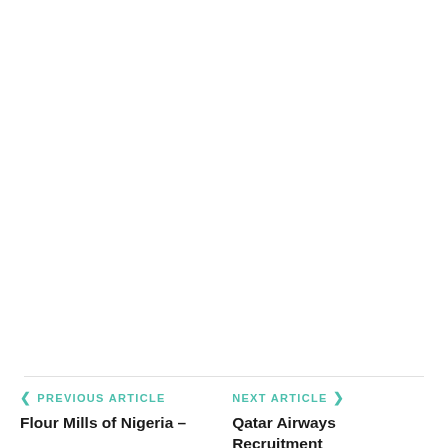PREVIOUS ARTICLE
Flour Mills of Nigeria –
NEXT ARTICLE
Qatar Airways Recruitment